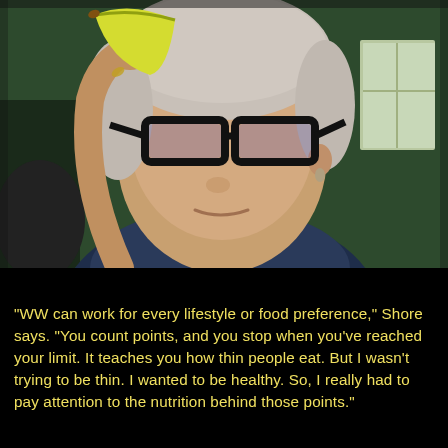[Figure (photo): A selfie-style photo of a middle-aged woman with short gray/white hair wearing black rectangular glasses and a dark navy blue shirt. She is holding a yellow banana near her face. The background shows a green wall and a window. The photo is taken in close-up from slightly below.]
"WW can work for every lifestyle or food preference," Shore says. "You count points, and you stop when you've reached your limit. It teaches you how thin people eat. But I wasn't trying to be thin. I wanted to be healthy. So, I really had to pay attention to the nutrition behind those points."